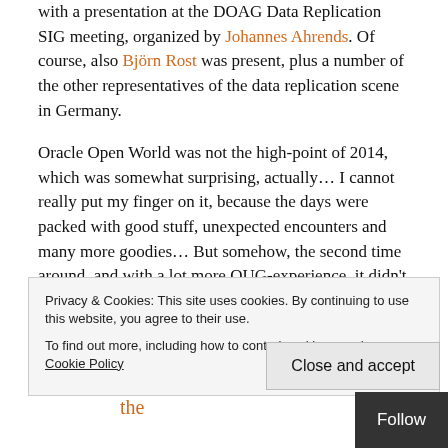with a presentation at the DOAG Data Replication SIG meeting, organized by Johannes Ahrends. Of course, also Björn Rost was present, plus a number of the other representatives of the data replication scene in Germany.
Oracle Open World was not the high-point of 2014, which was somewhat surprising, actually… I cannot really put my finger on it, because the days were packed with good stuff, unexpected encounters and many more goodies… But somehow, the second time around, and with a lot more OUG-experience, it didn't crack up to be event Numero Uno of 2014! I can safely say, looking back, that national Oracle User Group events are more interesting. You get to have more quality time with the people you just get to meet a
Privacy & Cookies: This site uses cookies. By continuing to use this website, you agree to their use. To find out more, including how to control cookies, see here: Cookie Policy